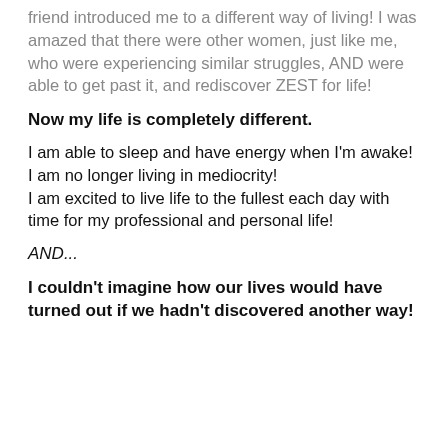friend introduced me to a different way of living! I was amazed that there were other women, just like me, who were experiencing similar struggles, AND were able to get past it, and rediscover ZEST for life!
Now my life is completely different.
I am able to sleep and have energy when I'm awake!
I am no longer living in mediocrity!
I am excited to live life to the fullest each day with time for my professional and personal life!
AND...
I couldn't imagine how our lives would have turned out if we hadn't discovered another way!